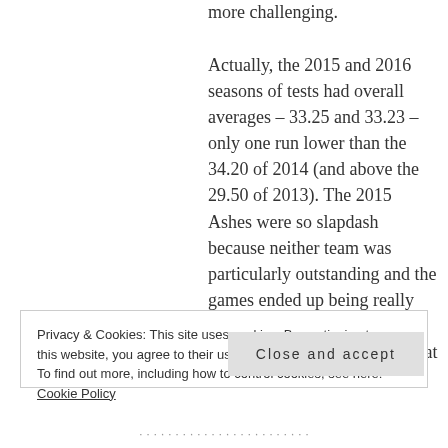more challenging.
Actually, the 2015 and 2016 seasons of tests had overall averages – 33.25 and 33.23 – only one run lower than the 34.20 of 2014 (and above the 29.50 of 2013). The 2015 Ashes were so slapdash because neither team was particularly outstanding and the games ended up being really one-sided, not because it was unreasonably challenging to bat in.
Privacy & Cookies: This site uses cookies. By continuing to use this website, you agree to their use.
To find out more, including how to control cookies, see here: Cookie Policy
Close and accept